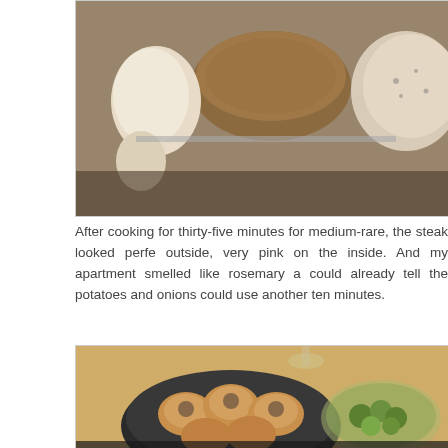[Figure (photo): Close-up photo of raw mushrooms, garlic, and other vegetables in a dark pan viewed from above]
After cooking for thirty-five minutes for medium-rare, the steak looked perfect outside, very pink on the inside. And my apartment smelled like rosemary a could already tell the potatoes and onions could use another ten minutes.
[Figure (photo): Photo of cooked yorkshire puddings in a dark bowl alongside a glass bowl with Brussels sprouts on a wooden table, with wine glasses in background]